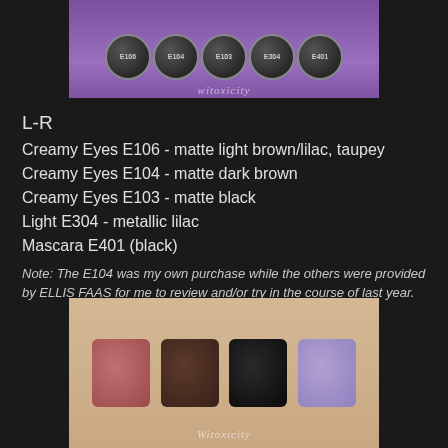[Figure (photo): Five ELLIS FAAS makeup capsules (E106, E104, E103, E304, E401) arranged in a row on a purple background with 'Witoxicity' watermark]
L-R
Creamy Eyes E106 - matte light brown/lilac, taupey
Creamy Eyes E104 - matte dark brown
Creamy Eyes E103 - matte black
Light E304 - metallic lilac
Mascara E401 (black)
Note: The E104 was my own purchase while the others were provided by ELLIS FAAS for me to review and/or try in the course of last year.
[Figure (photo): Four eyeshadow swatches on skin: matte light brown/lilac, matte dark brown, matte black, and metallic lilac; 'Witoxicity' watermark at bottom]